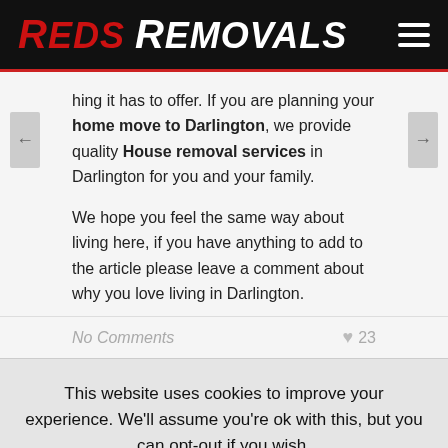Reds Removals
hing it has to offer. If you are planning your home move to Darlington, we provide quality House removal services in Darlington for you and your family.
We hope you feel the same way about living here, if you have anything to add to the article please leave a comment about why you love living in Darlington.
No Comments  ♥ 23
This website uses cookies to improve your experience. We'll assume you're ok with this, but you can opt-out if you wish.